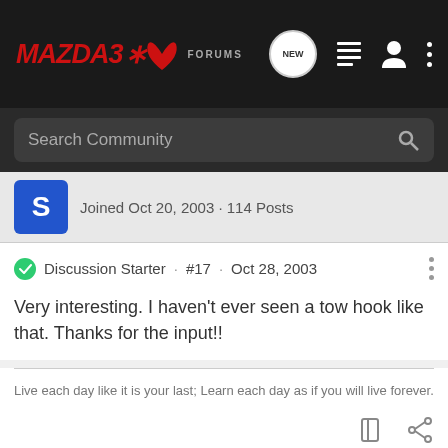MAZDA3 FORUMS
Search Community
Joined Oct 20, 2003 · 114 Posts
Discussion Starter · #17 · Oct 28, 2003
Very interesting. I haven't ever seen a tow hook like that. Thanks for the input!!
Live each day like it is your last; Learn each day as if you will live forever.
schulkw · Registered